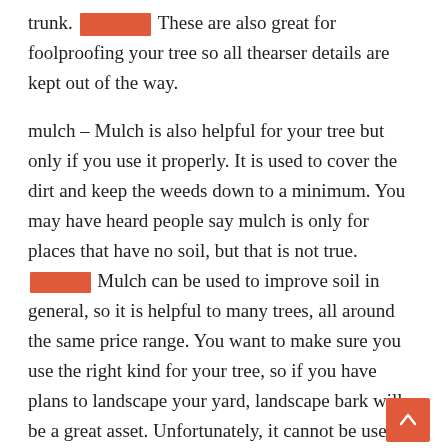trunk. [REDACTED] These are also great for foolproofing your tree so all thearser details are kept out of the way.
mulch – Mulch is also helpful for your tree but only if you use it properly. It is used to cover the dirt and keep the weeds down to a minimum. You may have heard people say mulch is only for places that have no soil, but that is not true. [REDACTED] Mulch can be used to improve soil in general, so it is helpful to many trees, all around the same price range. You want to make sure you use the right kind for your tree, so if you have plans to landscape your yard, landscape bark will be a great asset. Unfortunately, it cannot be used on ahealthy tree, so make sure to research the type of mulchyou are looking for before you buy.
rocks and bricks – If you have rocks in your yard, you